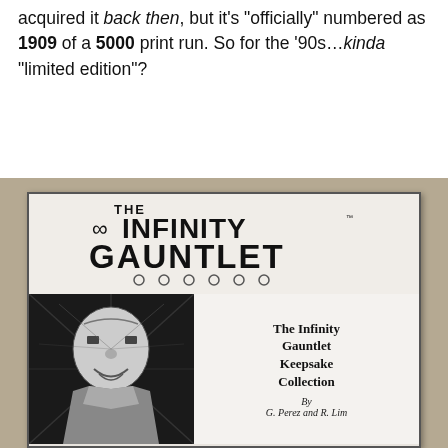acquired it back then, but it's "officially" numbered as 1909 of a 5000 print run. So for the '90s...kinda "limited edition"?
[Figure (photo): Photograph of The Infinity Gauntlet Keepsake Collection comic book cover, showing the stylized logo 'THE INFINITY GAUNTLET' with six circles below it, and in the lower portion a black-and-white illustration of Thanos on the left, with text on the right reading 'The Infinity Gauntlet Keepsake Collection By G. Perez and R. Lim']